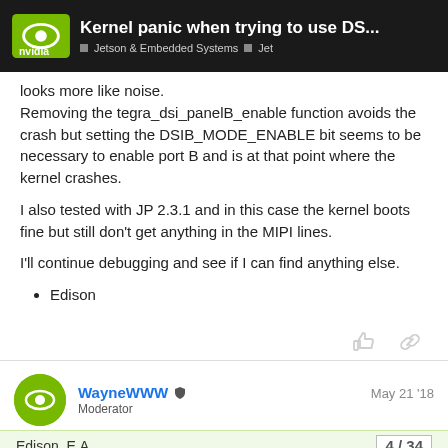Kernel panic when trying to use DS... | Jetson & Embedded Systems | Jet
looks more like noise.
Removing the tegra_dsi_panelB_enable function avoids the crash but setting the DSIB_MODE_ENABLE bit seems to be necessary to enable port B and is at that point where the kernel crashes.
I also tested with JP 2.3.1 and in this case the kernel boots fine but still don't get anything in the MIPI lines.
I'll continue debugging and see if I can find anything else.
Edison
WayneWWW  Moderator    May 21 '18
Edison_E.A.    4/34